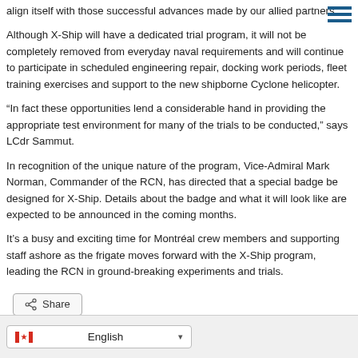align itself with those successful advances made by our allied partners.
Although X-Ship will have a dedicated trial program, it will not be completely removed from everyday naval requirements and will continue to participate in scheduled engineering repair, docking work periods, fleet training exercises and support to the new shipborne Cyclone helicopter.
“In fact these opportunities lend a considerable hand in providing the appropriate test environment for many of the trials to be conducted,” says LCdr Sammut.
In recognition of the unique nature of the program, Vice-Admiral Mark Norman, Commander of the RCN, has directed that a special badge be designed for X-Ship. Details about the badge and what it will look like are expected to be announced in the coming months.
It’s a busy and exciting time for Montréal crew members and supporting staff ashore as the frigate moves forward with the X-Ship program, leading the RCN in ground-breaking experiments and trials.
Share
Filed Under: Top Stories